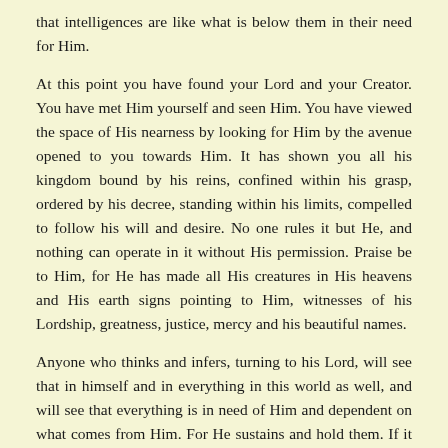that intelligences are like what is below them in their need for Him.
At this point you have found your Lord and your Creator. You have met Him yourself and seen Him. You have viewed the space of His nearness by looking for Him by the avenue opened to you towards Him. It has shown you all his kingdom bound by his reins, confined within his grasp, ordered by his decree, standing within his limits, compelled to follow his will and desire. No one rules it but He, and nothing can operate in it without His permission. Praise be to Him, for He has made all His creatures in His heavens and His earth signs pointing to Him, witnesses of his Lordship, greatness, justice, mercy and his beautiful names.
Anyone who thinks and infers, turning to his Lord, will see that in himself and in everything in this world as well, and will see that everything is in need of Him and dependent on what comes from Him. For He sustains and hold them. If it were not for Him, they would perish and be nothing.
Then narrate, follow, have your fill of and explain his